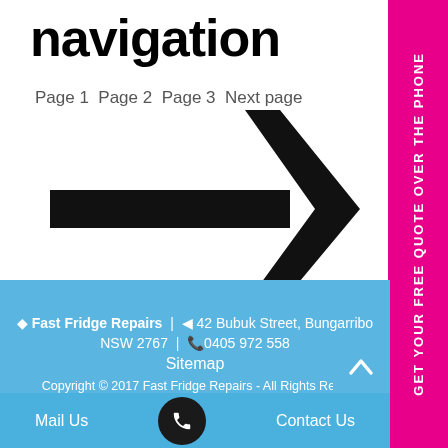navigation
Page 1 Page 2 Page 3 Next page
[Figure (illustration): A large right-pointing arrow icon in black]
GET YOUR FREE QUOTE OVER THE PHONE
Fast Fridge Repairs | 42 Bubuk Street, Bungarribone NSW 2767 | 0405 972 558 Sitemap Copyright © 2017 Fast Fridge Repairs - All Rights Reserved
Mail Us
Contact Us